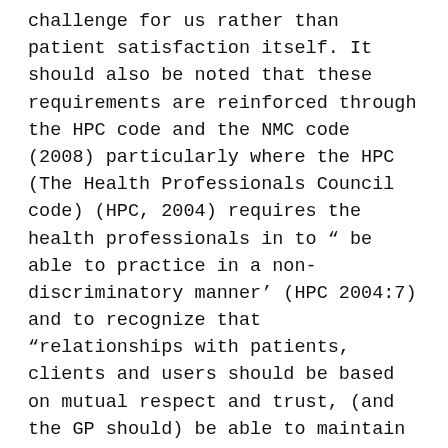challenge for us rather than patient satisfaction itself. It should also be noted that these requirements are reinforced through the HPC code and the NMC code (2008) particularly where the HPC (The Health Professionals Council code) (HPC, 2004) requires the health professionals in to " be able to practice in a non-discriminatory manner' (HPC 2004:7) and to recognize that “relationships with patients, clients and users should be based on mutual respect and trust, (and the GP should) be able to maintain high standards of care even in situations of personal incompatibility' (HPC, 2004:8). The NMC Code of Conduct (2004, para 5.1) expressly requires all nurses and student nurses to “treat information about patients and clients as confidential, and use it only for the purposes for which it was given” (NMC, para 5.1). Furthermore,